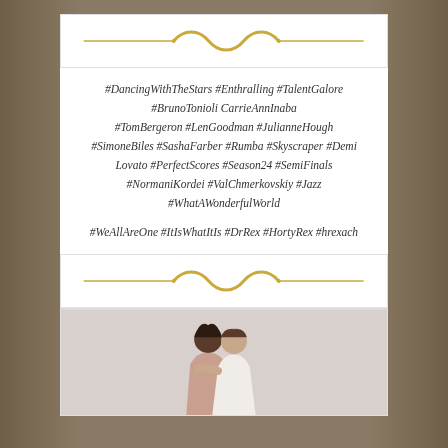[Figure (illustration): Gold decorative divider with flowing ribbon/wave design on white card]
#DancingWithTheStars #Enthralling #TalentGalore #BrunoTonioli CarrieAnnInaba #TomBergeron #LenGoodman #JulianneHough #SimoneBiles #SashaFarber #Rumba #Skyscraper #Demi Lovato #PerfectScores #Season24 #SemiFinals #NormaniKordei #ValChmerkovskiy #Jazz #WhatAWonderfulWorld
#WeAllAreOne #ItIsWhatItIs #DrRex #HortyRex #hrexach
[Figure (illustration): Gold decorative divider with flowing ribbon/wave design on white card]
[Figure (photo): A man and woman in an embrace, woman in pink dress, man in white shirt, against light grey background]